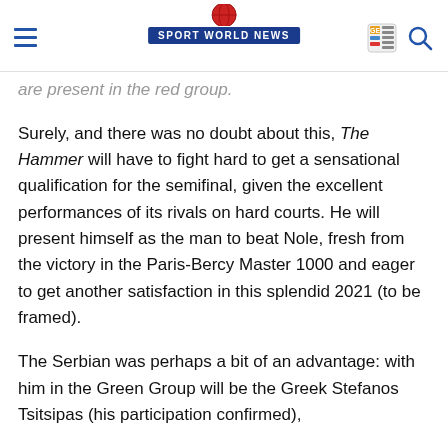Sport World News
are present in the red group.
Surely, and there was no doubt about this, The Hammer will have to fight hard to get a sensational qualification for the semifinal, given the excellent performances of its rivals on hard courts. He will present himself as the man to beat Nole, fresh from the victory in the Paris-Bercy Master 1000 and eager to get another satisfaction in this splendid 2021 (to be framed).
The Serbian was perhaps a bit of an advantage: with him in the Green Group will be the Greek Stefanos Tsitsipas (his participation confirmed),